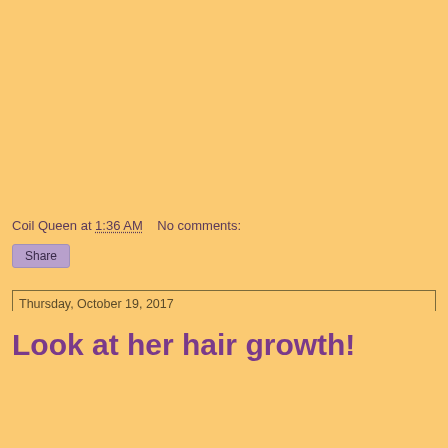Coil Queen at 1:36 AM    No comments:
Share
Thursday, October 19, 2017
Look at her hair growth!